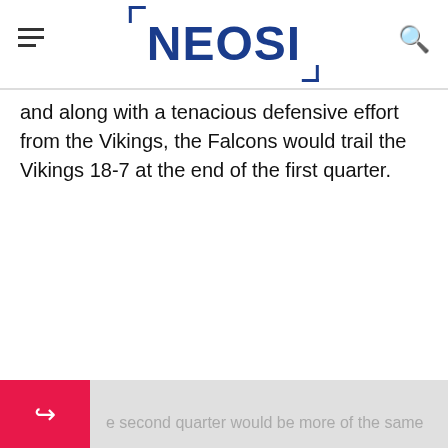NEOSI
and along with a tenacious defensive effort from the Vikings, the Falcons would trail the Vikings 18-7 at the end of the first quarter.
e second quarter would be more of the same